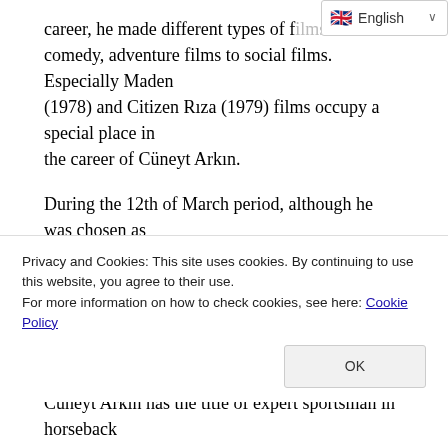[Figure (screenshot): Language selector badge showing English with flag emoji and dropdown chevron]
career, he made different types of films from comedy, adventure films to social films. Especially Maden (1978) and Citizen Rıza (1979) films occupy a special place in the career of Cüneyt Arkın.
During the 12th of March period, although he was chosen as the best actor for his role in the 4 th Golden Boll Film Festival (1972) in the first voting of the jury, he was later replaced by Yılmaz Güney with political presses, with his performance in the film Wounded Wolf in the first vote. Cüneyt Arkın was named the best actor. Reacting to this decision, Arkın refused the award.
Cüneyt Arkın, who brought a different color to his cinema and
Privacy and Cookies: This site uses cookies. By continuing to use this website, you agree to their use.
For more information on how to check cookies, see here: Cookie Policy
Cüneyt Arkın has the title of expert sportsman in horseback